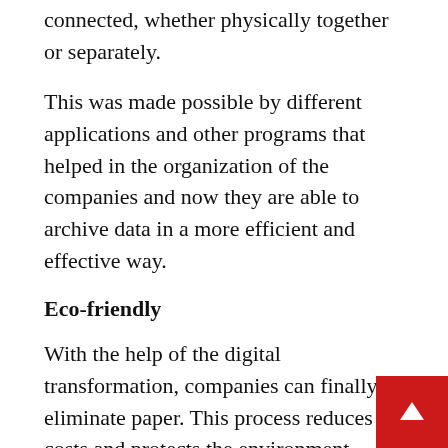connected, whether physically together or separately.
This was made possible by different applications and other programs that helped in the organization of the companies and now they are able to archive data in a more efficient and effective way.
Eco-friendly
With the help of the digital transformation, companies can finally eliminate paper. This process reduces costs and protects the environment.
And, above all, if you switch to telecommuting as a strategy, the economy goes further: the employee does not need to commute to the office, eliminating a car from the streets and helping to pollute le (not counting other costs involved such as spe on power, electricity, expansion of physical